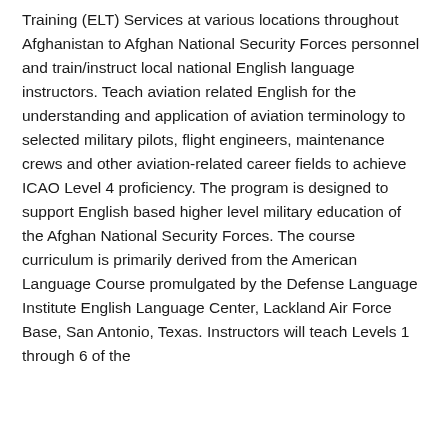Training (ELT) Services at various locations throughout Afghanistan to Afghan National Security Forces personnel and train/instruct local national English language instructors. Teach aviation related English for the understanding and application of aviation terminology to selected military pilots, flight engineers, maintenance crews and other aviation-related career fields to achieve ICAO Level 4 proficiency. The program is designed to support English based higher level military education of the Afghan National Security Forces. The course curriculum is primarily derived from the American Language Course promulgated by the Defense Language Institute English Language Center, Lackland Air Force Base, San Antonio, Texas. Instructors will teach Levels 1 through 6 of the